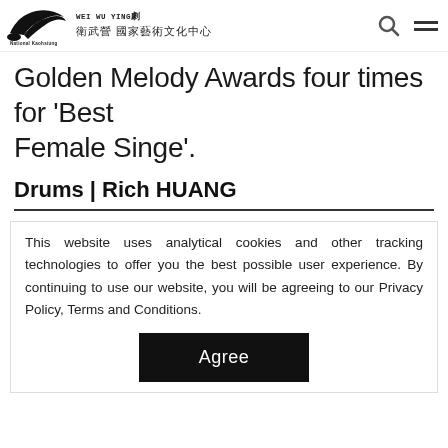WEI WU YING 衛武營 國家藝術文化中心 | National Kaohsiung CENTER for the ARTs
Golden Melody Awards four times for 'Best Female Singe'.
Drums | Rich HUANG
This website uses analytical cookies and other tracking technologies to offer you the best possible user experience. By continuing to use our website, you will be agreeing to our Privacy Policy, Terms and Conditions.
Agree